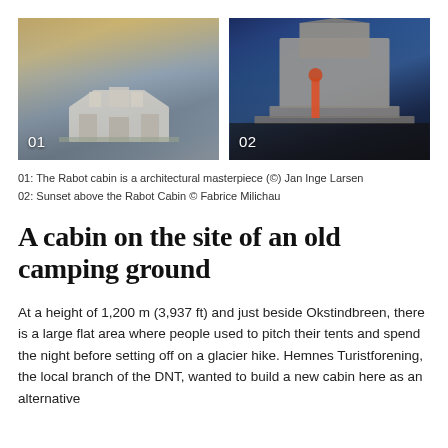[Figure (photo): Photo 01: The Rabot cabin exterior with mountains in background under dramatic sky]
[Figure (photo): Photo 02: Person standing on Rabot Cabin rooftop at sunset/dusk with blue sky]
01: The Rabot cabin is a architectural masterpiece (©) Jan Inge Larsen
02: Sunset above the Rabot Cabin © Fabrice Milichau
A cabin on the site of an old camping ground
At a height of 1,200 m (3,937 ft) and just beside Okstindbreen, there is a large flat area where people used to pitch their tents and spend the night before setting off on a glacier hike. Hemnes Turistforening, the local branch of the DNT, wanted to build a new cabin here as an alternative